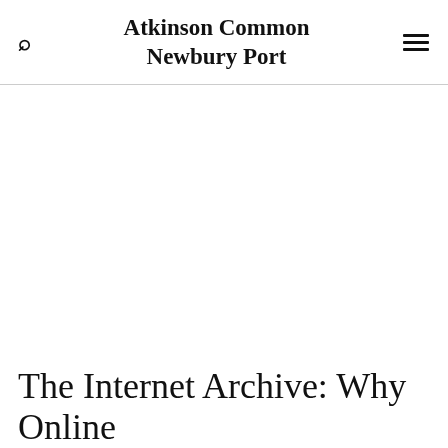Atkinson Common
Newbury Port
The Internet Archive: Why Online